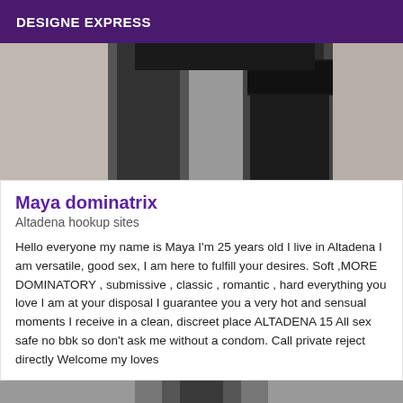DESIGNE EXPRESS
[Figure (photo): Partial photo of a person's legs wearing black lace stockings against a light background, cropped at the top of frame]
Maya dominatrix
Altadena hookup sites
Hello everyone my name is Maya I'm 25 years old I live in Altadena I am versatile, good sex, I am here to fulfill your desires. Soft ,MORE DOMINATORY , submissive , classic , romantic , hard everything you love I am at your disposal I guarantee you a very hot and sensual moments I receive in a clean, discreet place ALTADENA 15 All sex safe no bbk so don't ask me without a condom. Call private reject directly Welcome my loves
[Figure (photo): Partial photo at the bottom of the page, cropped, showing a person's upper body/head area]